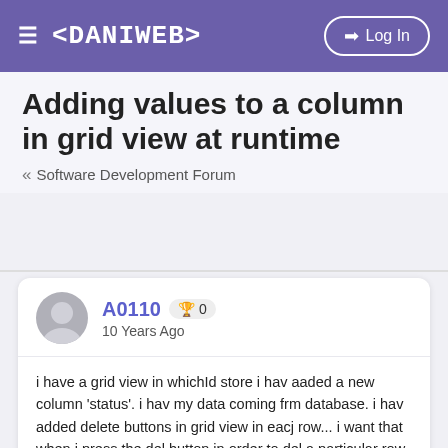< DANIWEB >  Log In
Adding values to a column in grid view at runtime
« Software Development Forum
A0110  🏆 0
10 Years Ago
i have a grid view in whichId store i hav aaded a new column 'status'. i hav my data coming frm database. i hav added delete buttons in grid view in eacj row... i want that when i press the del button in order to del a particular row the status column for tht particular row shld be "Invalid "...
or it can be anythng.....my aim is to maintain a status of the deleted row at run time.....is i possible???
plz guys its really urgent......i hav posted one more issue